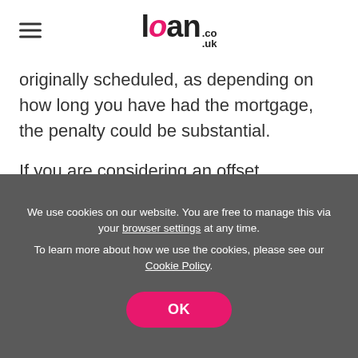loan.co.uk
originally scheduled, as depending on how long you have had the mortgage, the penalty could be substantial.
If you are considering an offset mortgage, it is particularly worth talking through your options with a mortgage broker as this type of loan is more complicated than standard mortgages, the different lenders have different lending criteria, and it does take some tedious calculations to see the size of the saving you could potentially make.
We use cookies on our website. You are free to manage this via your browser settings at any time. To learn more about how we use the cookies, please see our Cookie Policy.